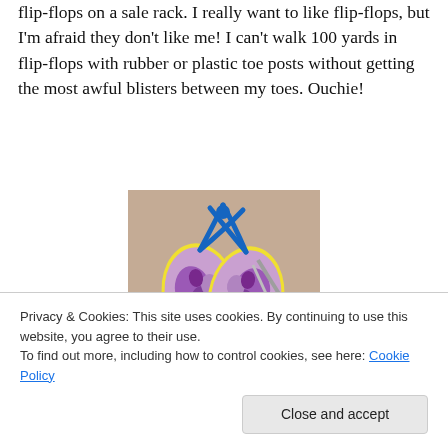flip-flops on a sale rack. I really want to like flip-flops, but I'm afraid they don't like me! I can't walk 100 yards in flip-flops with rubber or plastic toe posts without getting the most awful blisters between my toes. Ouchie!
[Figure (photo): Photo of two tie-dye flip-flops with blue straps laid on a beige/tan surface, with a pair of red-handled scissors visible to the right.]
So the next steps are going to be to turn...
Privacy & Cookies: This site uses cookies. By continuing to use this website, you agree to their use.
To find out more, including how to control cookies, see here: Cookie Policy
Close and accept